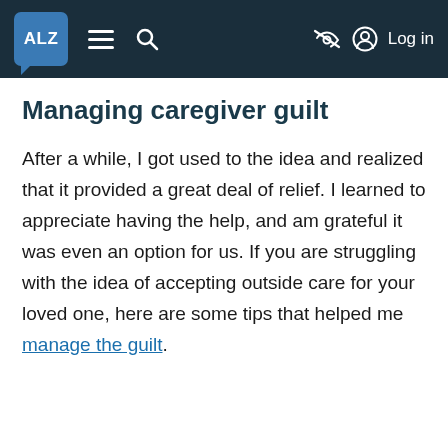ALZ [logo] ≡ 🔍 [eye-slash icon] [user icon] Log in
Managing caregiver guilt
After a while, I got used to the idea and realized that it provided a great deal of relief. I learned to appreciate having the help, and am grateful it was even an option for us. If you are struggling with the idea of accepting outside care for your loved one, here are some tips that helped me manage the guilt.